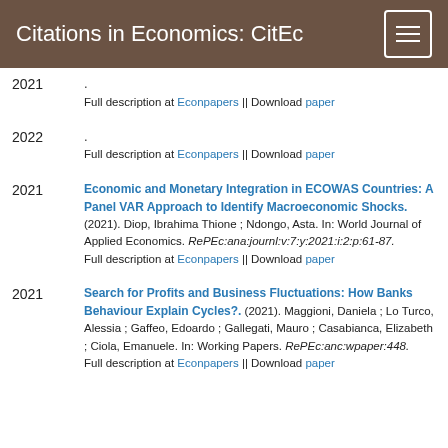Citations in Economics: CitEc
2021
.
Full description at Econpapers || Download paper
2022
.
Full description at Econpapers || Download paper
2021
Economic and Monetary Integration in ECOWAS Countries: A Panel VAR Approach to Identify Macroeconomic Shocks. (2021). Diop, Ibrahima Thione ; Ndongo, Asta. In: World Journal of Applied Economics. RePEc:ana:journl:v:7:y:2021:i:2:p:61-87.
Full description at Econpapers || Download paper
2021
Search for Profits and Business Fluctuations: How Banks Behaviour Explain Cycles?. (2021). Maggioni, Daniela ; Lo Turco, Alessia ; Gaffeo, Edoardo ; Gallegati, Mauro ; Casabianca, Elizabeth ; Ciola, Emanuele. In: Working Papers. RePEc:anc:wpaper:448.
Full description at Econpapers || Download paper